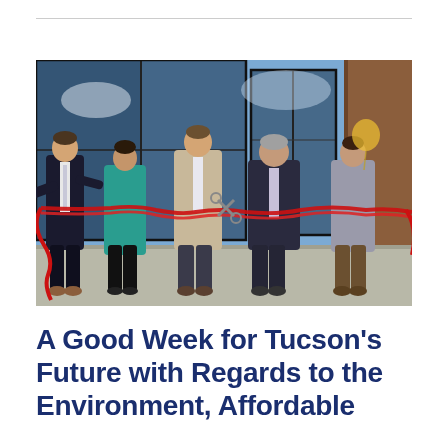[Figure (photo): Five people standing in front of a building with large glass windows and a brick wall, cutting a red ribbon with scissors. The group is smiling and celebrating at a ribbon-cutting ceremony. From left: a man in a dark suit, a woman in a teal jacket, a tall man in a beige blazer, an older man with gray hair in a dark jacket, and a woman in a gray blazer. The sky is blue and sunny.]
A Good Week for Tucson's Future with Regards to the Environment, Affordable